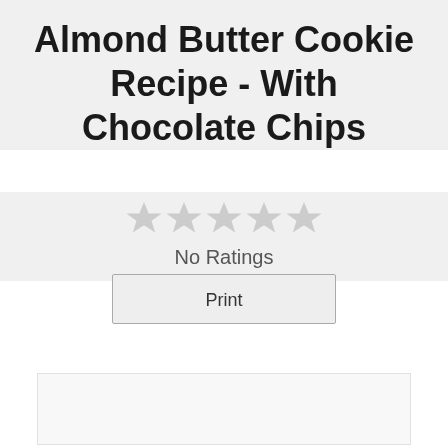Almond Butter Cookie Recipe - With Chocolate Chips
[Figure (other): Five empty/unfilled star rating icons in a row, indicating no ratings]
No Ratings
Print
[Figure (other): Empty white/light grey box, likely an image placeholder]